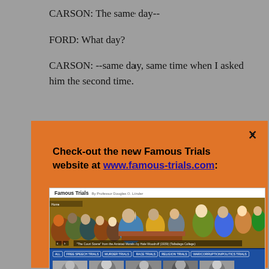CARSON: The same day--
FORD: What day?
CARSON: --same day, same time when I asked him the second time.
[Figure (screenshot): Orange popup overlay advertising the Famous Trials website (www.famous-trials.com) with a close button (×), displayed over a screenshot of the Famous Trials website showing a mural painting of a courtroom scene, navigation categories (ALL, FREE SPEECH TRIALS, MURDER TRIALS, RACE TRIALS, RELIGION TRIALS, WAR/CORRUPTION/POLITICS TRIALS), and thumbnail images.]